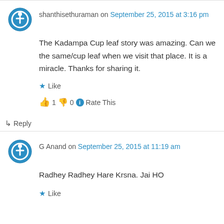shanthisethuraman on September 25, 2015 at 3:16 pm
The Kadampa Cup leaf story was amazing. Can we the same/cup leaf when we visit that place. It is a miracle. Thanks for sharing it.
Like
👍 1 👎 0 ℹ Rate This
↳ Reply
G Anand on September 25, 2015 at 11:19 am
Radhey Radhey Hare Krsna. Jai HO
Like